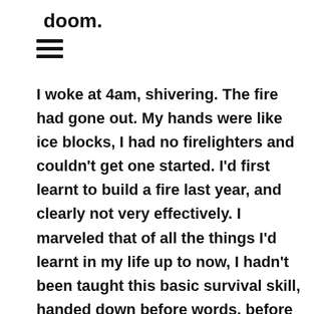doom.
[Figure (other): Hamburger menu icon — three horizontal parallel lines]
I woke at 4am, shivering. The fire had gone out. My hands were like ice blocks, I had no firelighters and couldn't get one started. I'd first learnt to build a fire last year, and clearly not very effectively. I marveled that of all the things I'd learnt in my life up to now, I hadn't been taught this basic survival skill, handed down before words, before language. I got the flames going and lost myself in their ravenous tongues, the sonorous crackling of wood, the heat, the heart of the dance, the light, the lion, the